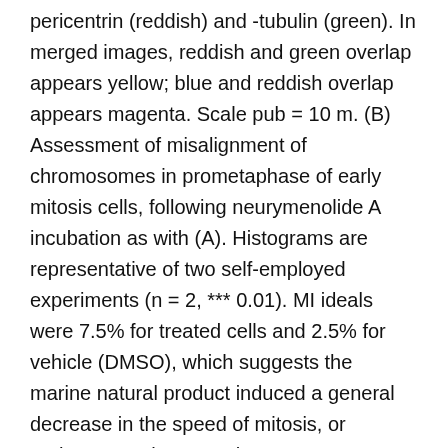pericentrin (reddish) and -tubulin (green). In merged images, reddish and green overlap appears yellow; blue and reddish overlap appears magenta. Scale pub = 10 m. (B) Assessment of misalignment of chromosomes in prometaphase of early mitosis cells, following neurymenolide A incubation as with (A). Histograms are representative of two self-employed experiments (n = 2, *** 0.01). MI ideals were 7.5% for treated cells and 2.5% for vehicle (DMSO), which suggests the marine natural product induced a general decrease in the speed of mitosis, or perhaps caught or purchase TAK-875 slowed a specific phase of mitosis (Number 2A). To distinguish these options, we performed time-lapse to show that the number of cells in early mitosis dramatically increased over time (78.9%) after treatment with neurymenolide A, as cells came into mitosis, but failed to proceed through the later phases (Number 2B). The images of the cells clogged in an aberrant, prophase-like stage are similar to